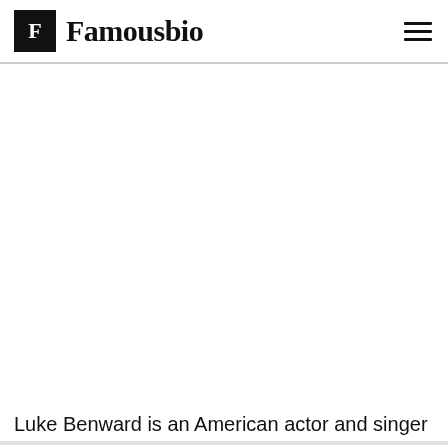F Famousbio
[Figure (photo): Large white/blank photo area for Luke Benward]
Luke Benward is an American actor and singer